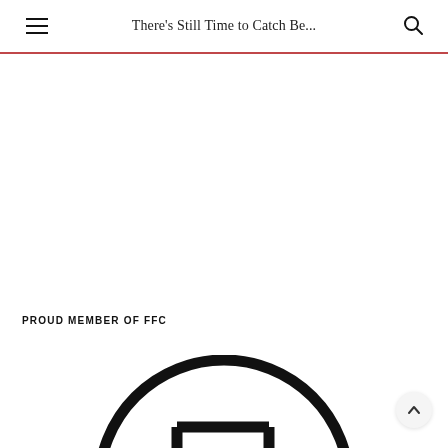There's Still Time to Catch Be...
PROUD MEMBER OF FFC
[Figure (logo): Partial FFC logo — large circular arc with stylized letter shapes, black on white, partially cropped at bottom of page]